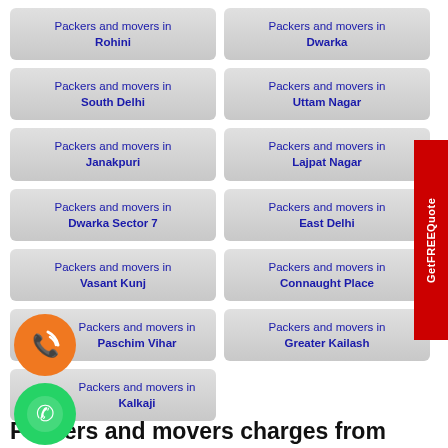Packers and movers in Rohini
Packers and movers in Dwarka
Packers and movers in South Delhi
Packers and movers in Uttam Nagar
Packers and movers in Janakpuri
Packers and movers in Lajpat Nagar
Packers and movers in Dwarka Sector 7
Packers and movers in East Delhi
Packers and movers in Vasant Kunj
Packers and movers in Connaught Place
Packers and movers in Paschim Vihar
Packers and movers in Greater Kailash
Packers and movers in Kalkaji
[Figure (illustration): Orange phone call icon circle]
[Figure (illustration): Green WhatsApp icon circle]
Packers and movers charges from